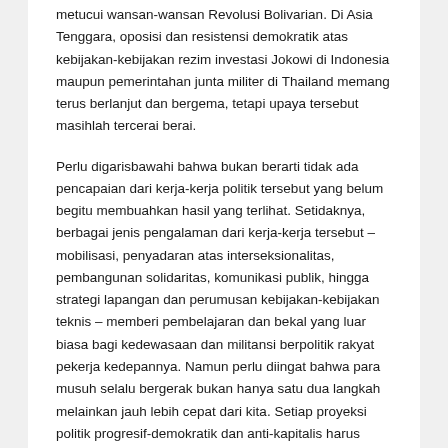metucui wansan-wansan Revolusi Bolivarian. Di Asia Tenggara, oposisi dan resistensi demokratik atas kebijakan-kebijakan rezim investasi Jokowi di Indonesia maupun pemerintahan junta militer di Thailand memang terus berlanjut dan bergema, tetapi upaya tersebut masihlah tercerai berai.
Perlu digarisbawahi bahwa bukan berarti tidak ada pencapaian dari kerja-kerja politik tersebut yang belum begitu membuahkan hasil yang terlihat. Setidaknya, berbagai jenis pengalaman dari kerja-kerja tersebut – mobilisasi, penyadaran atas interseksionalitas, pembangunan solidaritas, komunikasi publik, hingga strategi lapangan dan perumusan kebijakan-kebijakan teknis – memberi pembelajaran dan bekal yang luar biasa bagi kedewasaan dan militansi berpolitik rakyat pekerja kedepannya. Namun perlu diingat bahwa para musuh selalu bergerak bukan hanya satu dua langkah melainkan jauh lebih cepat dari kita. Setiap proyeksi politik progresif-demokratik dan anti-kapitalis harus menyadari dan menyiasati kenyataan itu.
Ada berbagai variasi dari naiknya ofensif Kanan – mulai dari